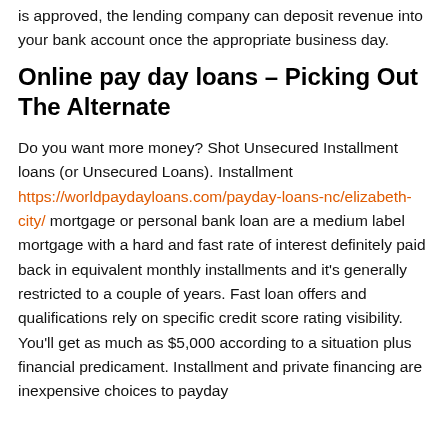is approved, the lending company can deposit revenue into your bank account once the appropriate business day.
Online pay day loans – Picking Out The Alternate
Do you want more money? Shot Unsecured Installment loans (or Unsecured Loans). Installment https://worldpaydayloans.com/payday-loans-nc/elizabeth-city/ mortgage or personal bank loan are a medium label mortgage with a hard and fast rate of interest definitely paid back in equivalent monthly installments and it's generally restricted to a couple of years. Fast loan offers and qualifications rely on specific credit score rating visibility. You'll get as much as $5,000 according to a situation plus financial predicament. Installment and private financing are inexpensive choices to payday